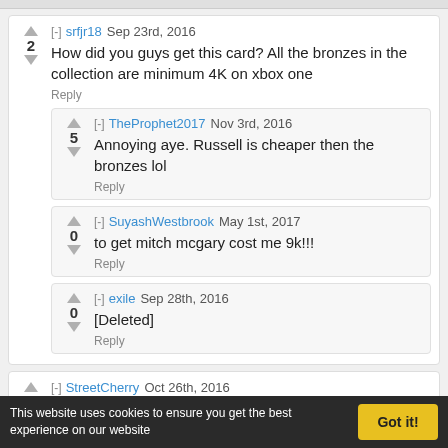srfjr18 Sep 23rd, 2016
2
How did you guys get this card? All the bronzes in the collection are minimum 4K on xbox one
Reply
TheProphet2017 Nov 3rd, 2016
5
Annoying aye. Russell is cheaper then the bronzes lol
Reply
SuyashWestbrook May 1st, 2017
0
to get mitch mcgary cost me 9k!!!
Reply
exile Sep 28th, 2016
0
[Deleted]
Reply
StreetCherry Oct 26th, 2016
1
Very good card, consistent shooting and he's really good at getting and-1's or at least drawing a foul
Reply
This website uses cookies to ensure you get the best experience on our website